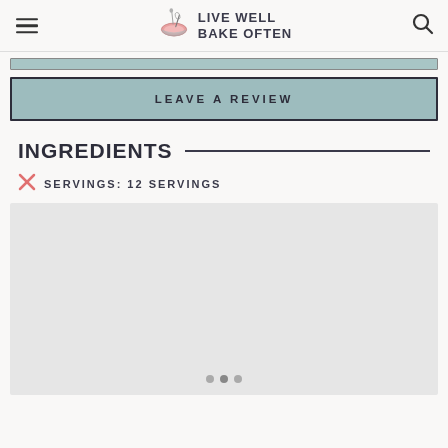LIVE WELL BAKE OFTEN
LEAVE A REVIEW
INGREDIENTS
SERVINGS: 12 SERVINGS
[Figure (other): Image carousel placeholder with navigation dots]